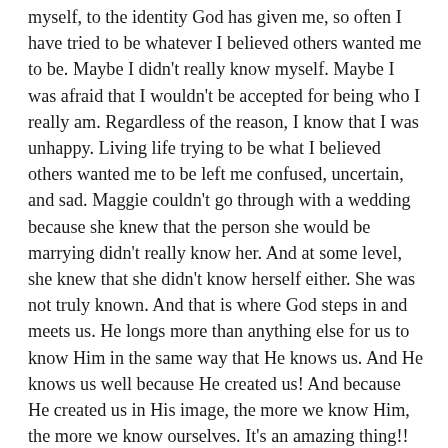myself, to the identity God has given me, so often I have tried to be whatever I believed others wanted me to be. Maybe I didn't really know myself. Maybe I was afraid that I wouldn't be accepted for being who I really am. Regardless of the reason, I know that I was unhappy. Living life trying to be what I believed others wanted me to be left me confused, uncertain, and sad. Maggie couldn't go through with a wedding because she knew that the person she would be marrying didn't really know her. And at some level, she knew that she didn't know herself either. She was not truly known. And that is where God steps in and meets us. He longs more than anything else for us to know Him in the same way that He knows us. And He knows us well because He created us! And because He created us in His image, the more we know Him, the more we know ourselves. It's an amazing thing!! Scripture says, “Be still and know that I am God.” In our busyness, we lose sight of God and we lose sight of ourselves. God longs for us to be still, to calm down, and to accept ourselves in the same deep way that He accepts us. Claiming the identity God has given us cuts